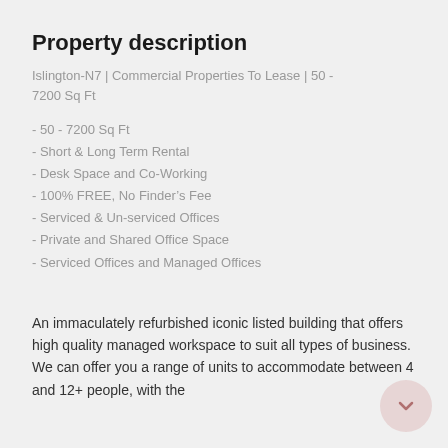Property description
Islington-N7 | Commercial Properties To Lease | 50 - 7200 Sq Ft
- 50 - 7200 Sq Ft
- Short & Long Term Rental
- Desk Space and Co-Working
- 100% FREE, No Finder’s Fee
- Serviced & Un-serviced Offices
- Private and Shared Office Space
- Serviced Offices and Managed Offices
An immaculately refurbished iconic listed building that offers high quality managed workspace to suit all types of business. We can offer you a range of units to accommodate between 4 and 12+ people, with the